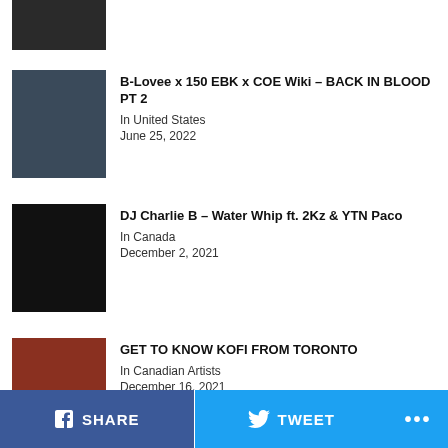[Figure (photo): Partial thumbnail of a person at top of page]
B-Lovee x 150 EBK x COE Wiki – BACK IN BLOOD PT 2
In United States
June 25, 2022
DJ Charlie B – Water Whip ft. 2Kz & YTN Paco
In Canada
December 2, 2021
GET TO KNOW KOFI FROM TORONTO
In Canadian Artists
December 16, 2021
Lil Durk Becomes/No Auto-Tune Back/ Project With...
SHARE   TWEET   ...